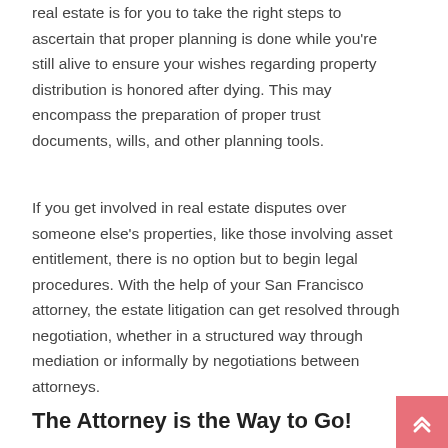real estate is for you to take the right steps to ascertain that proper planning is done while you're still alive to ensure your wishes regarding property distribution is honored after dying. This may encompass the preparation of proper trust documents, wills, and other planning tools.
If you get involved in real estate disputes over someone else's properties, like those involving asset entitlement, there is no option but to begin legal procedures. With the help of your San Francisco attorney, the estate litigation can get resolved through negotiation, whether in a structured way through mediation or informally by negotiations between attorneys.
The Attorney is the Way to Go!